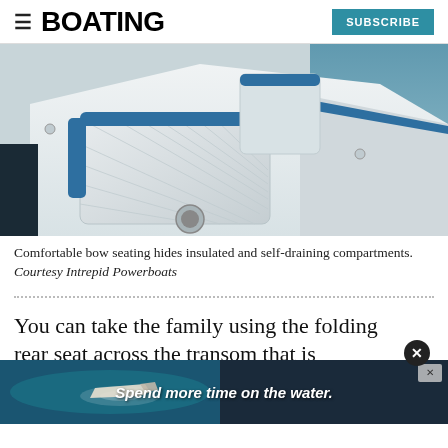≡  BOATING  SUBSCRIBE
[Figure (photo): Close-up photo of white boat bow seating area with tufted white upholstery, blue accent trim, cup holder, and ocean water visible in background. Courtesy Intrepid Powerboats.]
Comfortable bow seating hides insulated and self-draining compartments. Courtesy Intrepid Powerboats
You can take the family using the folding rear seat across the transom that is prob... hom... lley
[Figure (photo): Advertisement banner showing aerial view of a boat on turquoise water with text 'Spend more time on the water.']